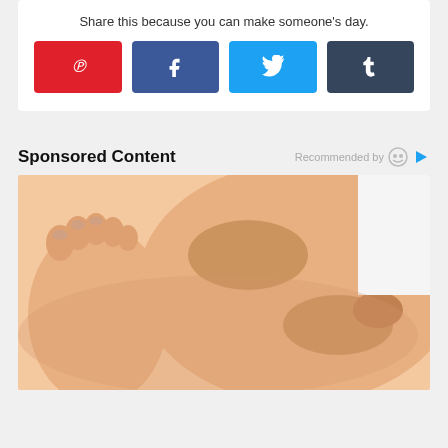Share this because you can make someone's day.
[Figure (other): Social share buttons: Pinterest (red), Facebook (dark blue), Twitter (light blue), Tumblr (dark slate)]
Sponsored Content
Recommended by
[Figure (photo): Close-up photo of a person's leg and foot being massaged or examined by hands, on a white background.]